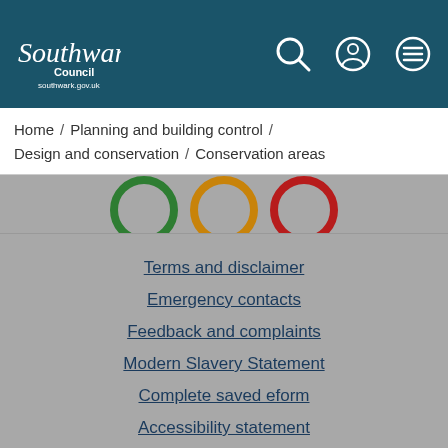Southwark Council - southwark.gov.uk
Home / Planning and building control / Design and conservation / Conservation areas
[Figure (illustration): Three colored circles (rings): green, orange/amber, red - partially visible at top of gray section]
Terms and disclaimer
Emergency contacts
Feedback and complaints
Modern Slavery Statement
Complete saved eform
Accessibility statement